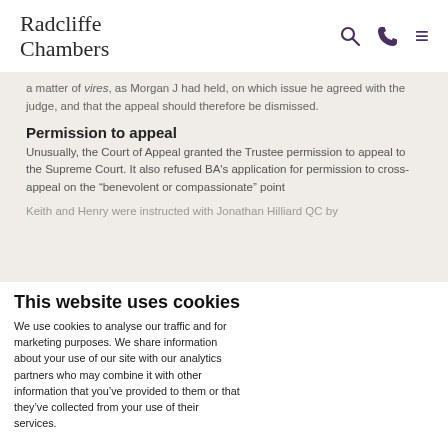Radcliffe Chambers
a matter of vires, as Morgan J had held, on which issue he agreed with the judge, and that the appeal should therefore be dismissed.
Permission to appeal
Unusually, the Court of Appeal granted the Trustee permission to appeal to the Supreme Court. It also refused BA's application for permission to cross-appeal on the “benevolent or compassionate” point
Keith and Henry were instructed with Jonathan Hilliard QC by
This website uses cookies
We use cookies to analyse our traffic and for marketing purposes. We share information about your use of our site with our analytics partners who may combine it with other information that you’ve provided to them or that they’ve collected from your use of their services.
Allow all cookies
Allow selection
Use necessary cookies only